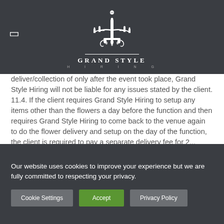[Figure (logo): Grand Style Hiring logo — white chandelier illustration above the text 'GRAND STYLE' in serif capitals with 'HIRING' in spaced small caps below]
deliver/collection of only after the event took place, Grand Style Hiring will not be liable for any issues stated by the client.
11.4. If the client requires Grand Style Hiring to setup any items other than the flowers a day before the function and then requires Grand Style Hiring to come back to the venue again to do the flower delivery and setup on the day of the function, the client is required to pay a separate delivery fee for 2...
Our website uses cookies to improve your experience but we are fully committed to respecting your privacy.
Cookie Settings | Accept | Privacy Policy